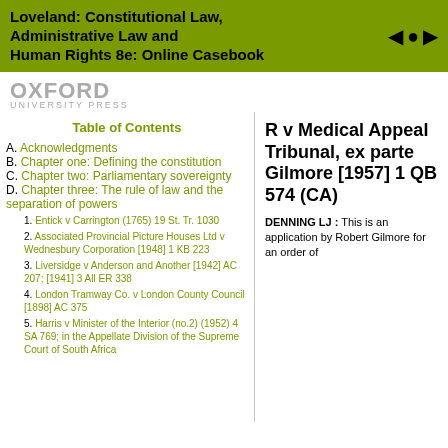Loveland: Constitutional Law, Administrative Law and Human Rights 8e: Online Casebook
[Figure (logo): Oxford University Press logo with 'OXFORD' in large grey letters and 'UNIVERSITY PRESS' below in small spaced letters]
Table of Contents
A. Acknowledgments
B. Chapter one: Defining the constitution
C. Chapter two: Parliamentary sovereignty
D. Chapter three: The rule of law and the separation of powers
1. Entick v Carrington (1765) 19 St. Tr. 1030
2. Associated Provincial Picture Houses Ltd v Wednesbury Corporation [1948] 1 KB 223
3. Liversidge v Anderson and Another [1942] AC 207; [1941] 3 All ER 338
4. London Tramway Co. v London County Council [1898] AC 375
5. Harris v Minister of the Interior (no.2) (1952) 4 SA 769; in the Appellate Division of the Supreme Court of South Africa
R v Medical Appeal Tribunal, ex parte Gilmore [1957] 1 QB 574 (CA)
DENNING LJ : This is an application by Robert Gilmore for an order of